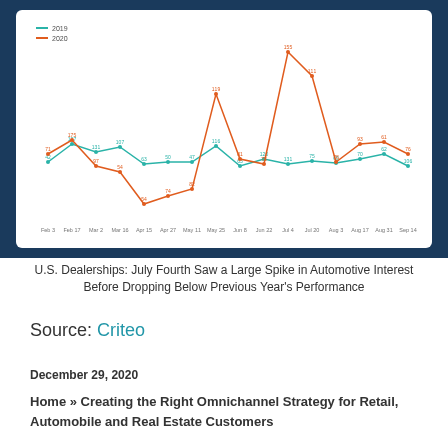[Figure (line-chart): U.S. Dealerships line chart 2019 vs 2020]
U.S. Dealerships: July Fourth Saw a Large Spike in Automotive Interest Before Dropping Below Previous Year's Performance
Source: Criteo
December 29, 2020
Home » Creating the Right Omnichannel Strategy for Retail, Automobile and Real Estate Customers